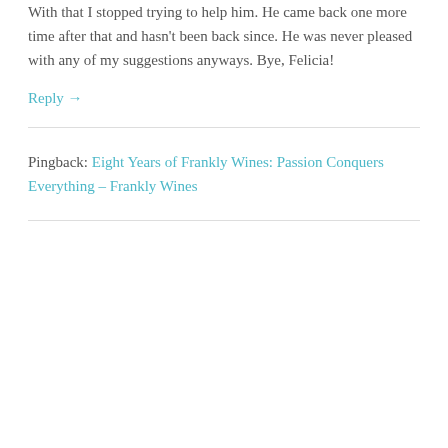With that I stopped trying to help him. He came back one more time after that and hasn't been back since. He was never pleased with any of my suggestions anyways. Bye, Felicia!
Reply →
Pingback: Eight Years of Frankly Wines: Passion Conquers Everything – Frankly Wines